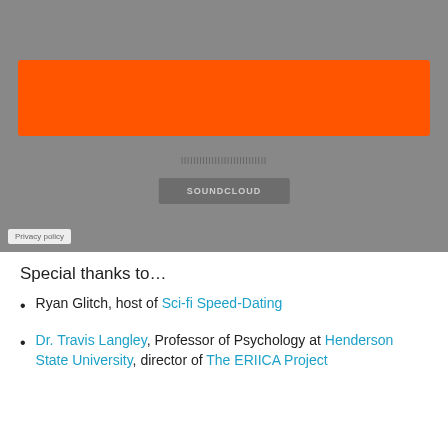[Figure (screenshot): SoundCloud embedded audio player screenshot with orange progress bar and gray background, showing SOUNDCLOUD button and Privacy policy label]
Special thanks to…
Ryan Glitch, host of Sci-fi Speed-Dating
Dr. Travis Langley, Professor of Psychology at Henderson State University, director of The ERIICA Project